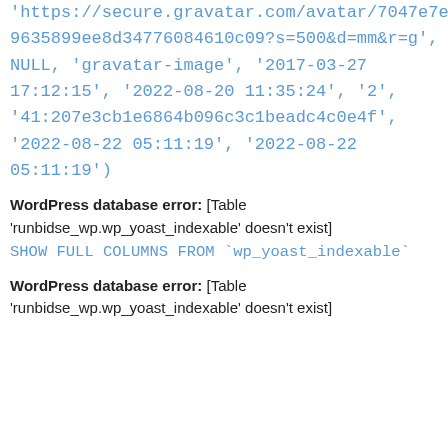'https://secure.gravatar.com/avatar/7047e7e9635899ee8d34776084610c09?s=500&d=mm&r=g', NULL, 'gravatar-image', '2017-03-27 17:12:15', '2022-08-20 11:35:24', '2', '41:207e3cb1e6864b096c3c1beadc4c0e4f', '2022-08-22 05:11:19', '2022-08-22 05:11:19')
WordPress database error: [Table 'runbidse_wp.wp_yoast_indexable' doesn't exist]
SHOW FULL COLUMNS FROM `wp_yoast_indexable`
WordPress database error: [Table 'runbidse_wp.wp_yoast_indexable' doesn't exist]